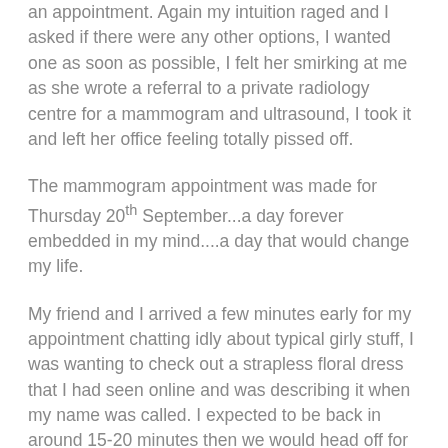an appointment. Again my intuition raged and I asked if there were any other options, I wanted one as soon as possible, I felt her smirking at me as she wrote a referral to a private radiology centre for a mammogram and ultrasound, I took it and left her office feeling totally pissed off.
The mammogram appointment was made for Thursday 20th September...a day forever embedded in my mind....a day that would change my life.
My friend and I arrived a few minutes early for my appointment chatting idly about typical girly stuff, I was wanting to check out a strapless floral dress that I had seen online and was describing it when my name was called. I expected to be back in around 15-20 minutes then we would head off for a day of fun. I was